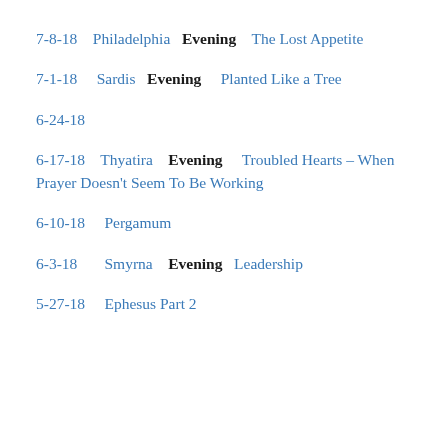7-8-18  Philadelphia  Evening  The Lost Appetite
7-1-18  Sardis  Evening  Planted Like a Tree
6-24-18
6-17-18  Thyatira  Evening  Troubled Hearts – When Prayer Doesn't Seem To Be Working
6-10-18  Pergamum
6-3-18  Smyrna  Evening  Leadership
5-27-18  Ephesus Part 2